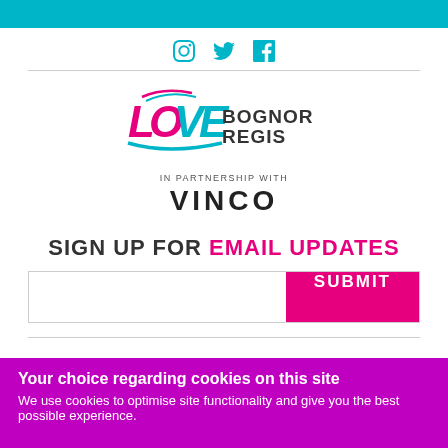[Figure (logo): Social media icons: Instagram, Twitter, Facebook in teal]
[Figure (logo): Love Bognor Regis logo with 'in partnership with VINCO' text]
SIGN UP FOR EMAIL UPDATES
[Figure (other): Email sign-up input field with pink SUBMIT button]
Privacy Policy   Cookie Policy   Advertising
Your choice regarding cookies on this site
We use cookies to optimise site functionality and give you the best possible experience.